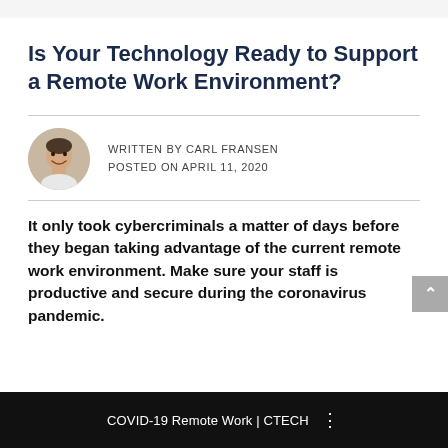Is Your Technology Ready to Support a Remote Work Environment?
WRITTEN BY CARL FRANSEN
POSTED ON APRIL 11, 2020
[Figure (photo): Headshot photo of Carl Fransen, a man smiling, circular crop]
It only took cybercriminals a matter of days before they began taking advantage of the current remote work environment. Make sure your staff is productive and secure during the coronavirus pandemic.
[Figure (screenshot): Black video player bar showing title: COVID-19 Remote Work | CTECH with a three-dot menu icon]